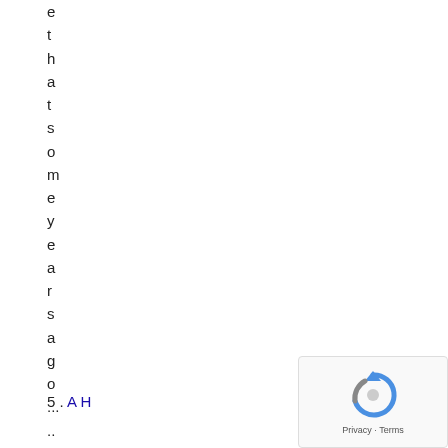e t h a t s o m e y e a r s a g o ... ..
5 .
A H
[Figure (other): reCAPTCHA widget with a circular arrow icon and 'Privacy - Terms' text at the bottom right corner of the page]